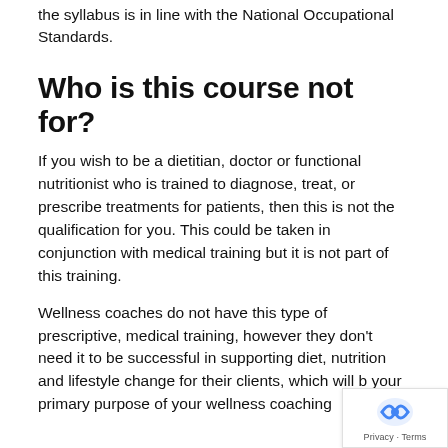the syllabus is in line with the National Occupational Standards.
Who is this course not for?
If you wish to be a dietitian, doctor or functional nutritionist who is trained to diagnose, treat, or prescribe treatments for patients, then this is not the qualification for you. This could be taken in conjunction with medical training but it is not part of this training.
Wellness coaches do not have this type of prescriptive, medical training, however they don't need it to be successful in supporting diet, nutrition and lifestyle change for their clients, which will be your primary purpose of your wellness coaching.